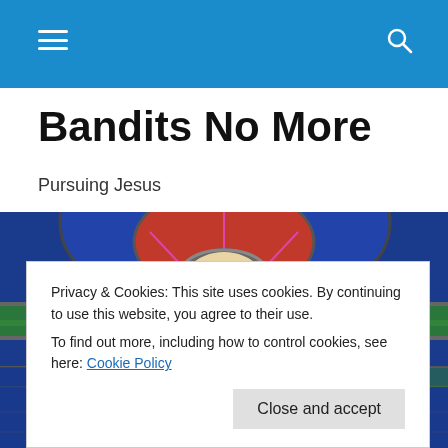Navigation bar with hamburger menu and search icon
Bandits No More
Pursuing Jesus
[Figure (photo): Stained glass window depicting Jesus Christ with colorful panels in red, green, blue and gold]
Privacy & Cookies: This site uses cookies. By continuing to use this website, you agree to their use.
To find out more, including how to control cookies, see here: Cookie Policy
Close and accept